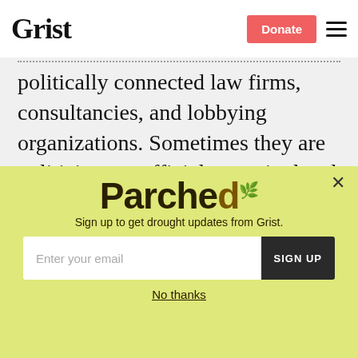Grist
politically connected law firms, consultancies, and lobbying organizations. Sometimes they are politicians or officials recruited and funded by the wealthy. They blend smoothly into the complex give and take of pluralist politics, but their character, focus, and effect is different: it is to advance
[Figure (other): Parched newsletter signup popup with yellow-green background, 'Parched' logo text, email signup field, and 'No thanks' link]
Sign up to get drought updates from Grist.
No thanks